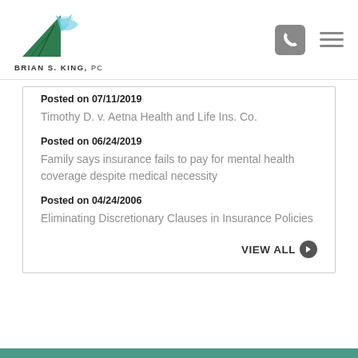BRIAN S. KING, PC
Posted on 07/11/2019
Timothy D. v. Aetna Health and Life Ins. Co.
Posted on 06/24/2019
Family says insurance fails to pay for mental health coverage despite medical necessity
Posted on 04/24/2006
Eliminating Discretionary Clauses in Insurance Policies
VIEW ALL